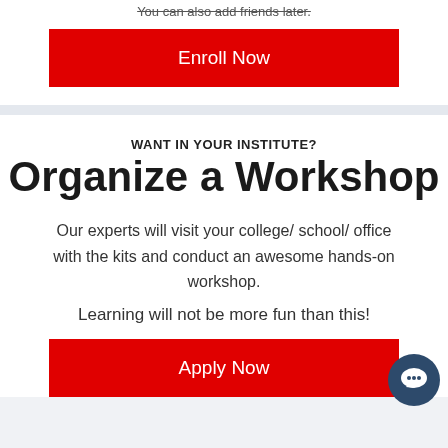You can also add friends later.
Enroll Now
WANT IN YOUR INSTITUTE?
Organize a Workshop
Our experts will visit your college/ school/ office with the kits and conduct an awesome hands-on workshop.
Learning will not be more fun than this!
Apply Now